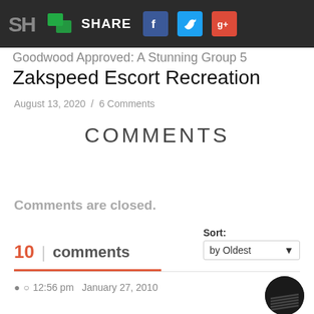SHARE
Goodwood Approved: A Stunning Group 5 Zakspeed Escort Recreation
August 13, 2020 / 6 Comments
COMMENTS
Comments are closed.
10 | comments
Sort: by Oldest
12:56 pm  January 27, 2010
Best Car Show Ever!